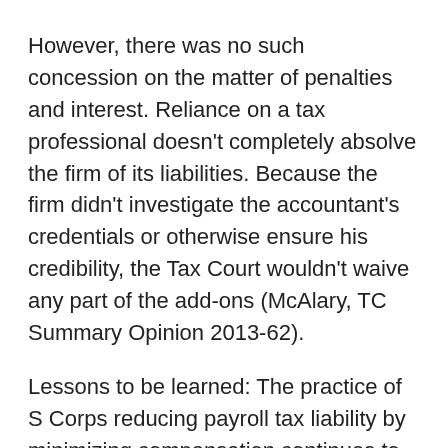However, there was no such concession on the matter of penalties and interest. Reliance on a tax professional doesn't completely absolve the firm of its liabilities. Because the firm didn't investigate the accountant's credentials or otherwise ensure his credibility, the Tax Court wouldn't waive any part of the add-ons (McAlary, TC Summary Opinion 2013-62).
Lessons to be learned: The practice of S Corps reducing payroll tax liability by minimizing compensation continues to be a prime concern for the IRS and lawmakers. As tax reform talk heats up in Washington, one widely-discussed measure would negate this strategy by imposing self-employment tax on S Corp profits. In the meantime, business owners can expect extra scrutiny from the IRS regarding their compensation of shareholder-employees, especially in situations similar to these two where the